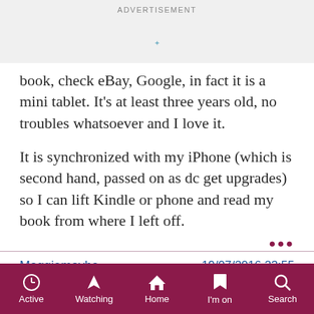ADVERTISEMENT
book, check eBay, Google, in fact it is a mini tablet. It's at least three years old, no troubles whatsoever and I love it.
It is synchronized with my iPhone (which is second hand, passed on as dc get upgrades) so I can lift Kindle or phone and read my book from where I left off.
Maggiemaybe   19/07/2016 23:55
I use my Kindle Fire as a tablet, and have an older Kindle Paperwhite for reading, as I find it's kinder on the eyes. Still read lots of proper books as well though
Active  Watching  Home  I'm on  Search